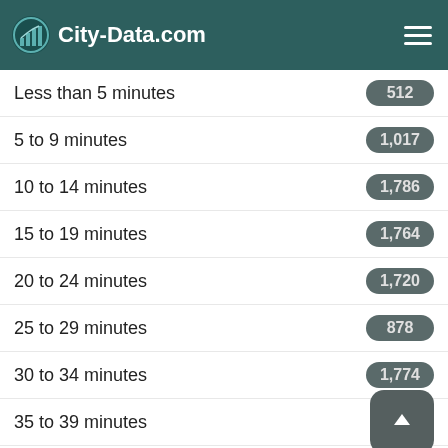City-Data.com
Less than 5 minutes
5 to 9 minutes
10 to 14 minutes
15 to 19 minutes
20 to 24 minutes
25 to 29 minutes
30 to 34 minutes
35 to 39 minutes
40 to 44 minutes